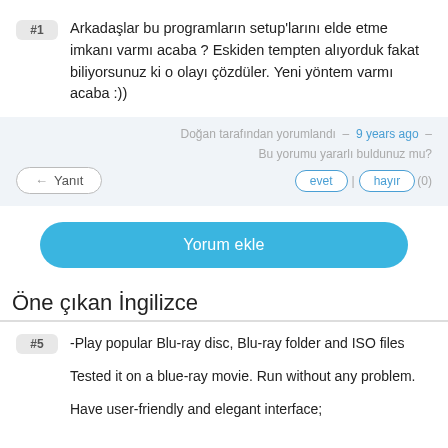#1  Arkadaşlar bu programların setup'larını elde etme imkanı varmı acaba ? Eskiden tempten alıyorduk fakat biliyorsunuz ki o olayı çözdüler. Yeni yöntem varmı acaba :))
Doğan tarafından yorumlandı – 9 years ago –
Bu yorumu yararlı buldunuz mu?
evet | hayır (0)
Yanıt
Yorum ekle
Öne çıkan İngilizce
#5  -Play popular Blu-ray disc, Blu-ray folder and ISO files

Tested it on a blue-ray movie. Run without any problem.

Have user-friendly and elegant interface;